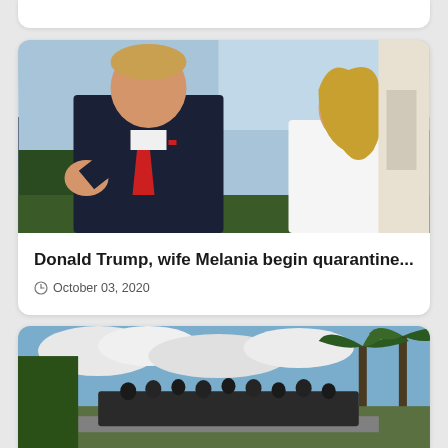[Figure (photo): Partial top card visible at the top of the page, white background card cut off]
[Figure (photo): Photo of Donald Trump in dark suit with red tie pumping fist, and Melania Trump in white dress, outdoors with blue sky and greenery]
Donald Trump, wife Melania begin quarantine...
October 03, 2020
[Figure (photo): Photo of people riding on top of a vehicle through a road lined with palm trees, overcast sky]